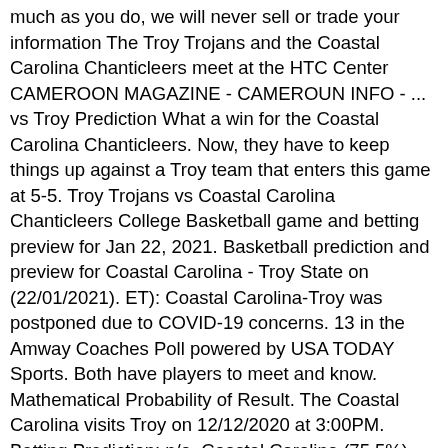much as you do, we will never sell or trade your information The Troy Trojans and the Coastal Carolina Chanticleers meet at the HTC Center CAMEROON MAGAZINE - CAMEROUN INFO - ... vs Troy Prediction What a win for the Coastal Carolina Chanticleers. Now, they have to keep things up against a Troy team that enters this game at 5-5. Troy Trojans vs Coastal Carolina Chanticleers College Basketball game and betting preview for Jan 22, 2021. Basketball prediction and preview for Coastal Carolina - Troy State on (22/01/2021). ET): Coastal Carolina-Troy was postponed due to COVID-19 concerns. 13 in the Amway Coaches Poll powered by USA TODAY Sports. Both have players to meet and know. Mathematical Probability of Result. The Coastal Carolina visits Troy on 12/12/2020 at 3:00PM. Betting Prediction: n/a. Coastal Carolina (75.5%) Troy (24.5%) Betting ODDS (click to add to your account): Get winning predictions for this game: No results found. Betting Prediction: Coastal Carolina will Win, Cover the Spread, and the Total will go Under. We will inform you about free tips and